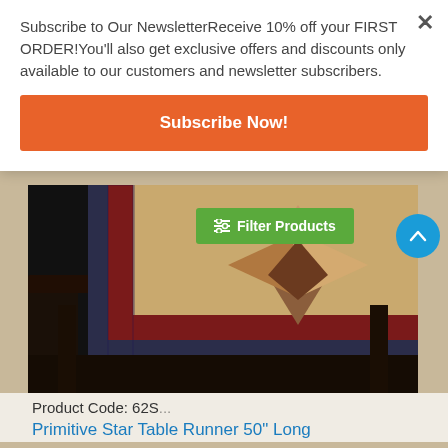Subscribe to Our NewsletterReceive 10% off your FIRST ORDER!You'll also get exclusive offers and discounts only available to our customers and newsletter subscribers.
Subscribe Now!
[Figure (photo): A quilted table runner with a primitive star pattern in earth tones — tan, brown, dark red, and navy — draped over a dark wooden table, photographed against a near-black background.]
Product Code: 62S...
Filter Products
Primitive Star Table Runner 50" Long